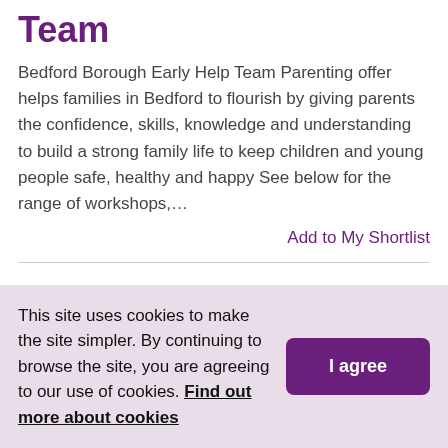Team
Bedford Borough Early Help Team Parenting offer helps families in Bedford to flourish by giving parents the confidence, skills, knowledge and understanding to build a strong family life to keep children and young people safe, healthy and happy See below for the range of workshops,…
Add to My Shortlist
Bedford Borough Summer of SEND 2022
Following on from the success of last year #SummerOfSEND.  We are delighted it is returning this
This site uses cookies to make the site simpler. By continuing to browse the site, you are agreeing to our use of cookies. Find out more about cookies